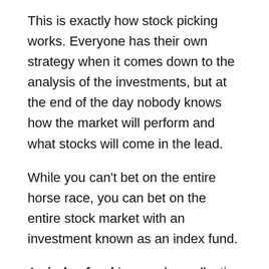This is exactly how stock picking works. Everyone has their own strategy when it comes down to the analysis of the investments, but at the end of the day nobody knows how the market will perform and what stocks will come in the lead.
While you can't bet on the entire horse race, you can bet on the entire stock market with an investment known as an index fund.
An index fund is a pool or collection of different stocks designed to replicate an underlying benchmark. This benchmark could be the S&P 500, foreign telecommunication companies or even the entire global stock market. This fund is designed to replicate the